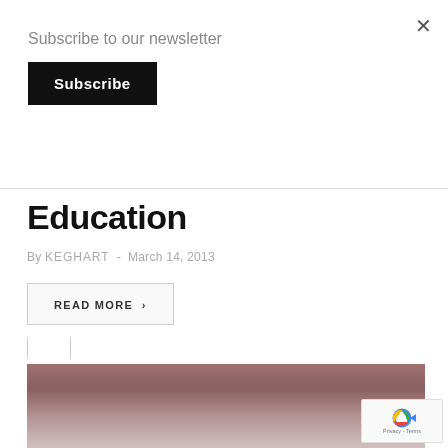Subscribe to our newsletter
Subscribe
Education
By KEGHART  -  March 14, 2013
READ MORE  >
[Figure (photo): Blurred background photo with muted pinkish-brown tones, partial view of what appears to be a building or architectural structure]
Privacy - Terms